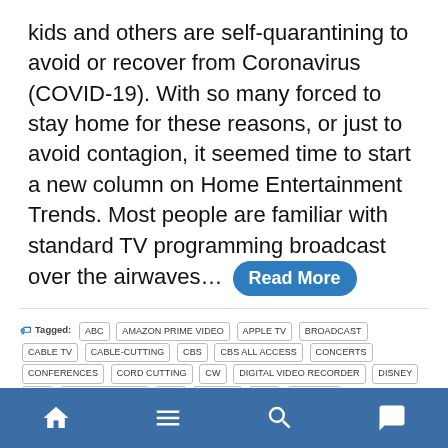kids and others are self-quarantining to avoid or recover from Coronavirus (COVID-19). With so many forced to stay home for these reasons, or just to avoid contagion, it seemed time to start a new column on Home Entertainment Trends. Most people are familiar with standard TV programming broadcast over the airwaves... [Read More]
Tagged: ABC AMAZON PRIME VIDEO APPLE TV BROADCAST CABLE TV CABLE-CUTTING CBS CBS ALL ACCESS CONCERTS CONFERENCES CORD CUTTING CW DIGITAL VIDEO RECORDER DISNEY DVR ENTERTAINMENT FOX FUBOTV HBO HBO MAX HOME ENTERTAINMENT HOMELAND HULU MLB MLS NBA NFL NBC NETFLIX NHL ON DEMAND PROGRAMMING PBS PEACOCK PGA PHILO REGIONAL SPORTS NETWORKS ROKU SATELLITE SELF-QUARANTINE SHOWTIME SLINGTV SMART TV SPORTING EVENTS STAR TREK PICARD STREAMING TRENDING TECH TRENDS WESTWORLD YOUTUBE TV
10 Fun Things To Do Week of
Navigation bar with home, menu, search, and chat icons